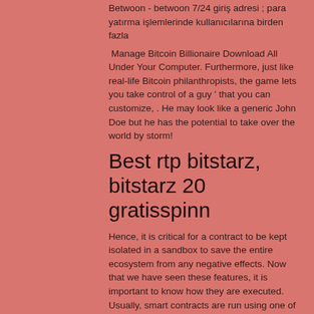Betwoon - betwoon 7/24 giriş adresi ; para yatırma işlemlerinde kullanıcılarına birden fazla
Manage Bitcoin Billionaire Download All Under Your Computer. Furthermore, just like real-life Bitcoin philanthropists, the game lets you take control of a guy ' that you can customize, . He may look like a generic John Doe but he has the potential to take over the world by storm!
Best rtp bitstarz, bitstarz 20 gratisspinn
Hence, it is critical for a contract to be kept isolated in a sandbox to save the entire ecosystem from any negative effects. Now that we have seen these features, it is important to know how they are executed. Usually, smart contracts are run using one of the two systems: Virtual Machines: Ethereum uses this. Docker: Fabric uses this, битстарс